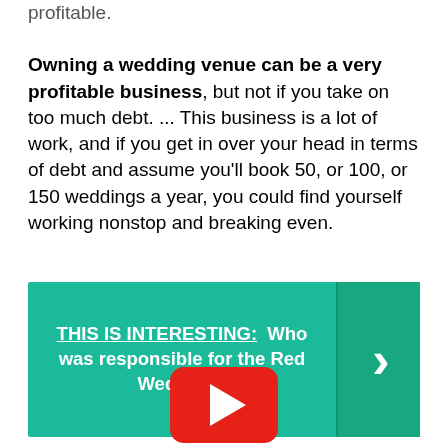profitable.
Owning a wedding venue can be a very profitable business, but not if you take on too much debt. ... This business is a lot of work, and if you get in over your head in terms of debt and assume you'll book 50, or 100, or 150 weddings a year, you could find yourself working nonstop and breaking even.
[Figure (infographic): Teal/green banner with text 'THIS IS INTERESTING: Who was responsible for the Red Wedding?' with a right-facing chevron arrow on the right side]
[Figure (logo): YouTube play button logo — red rounded rectangle with white triangle play icon]